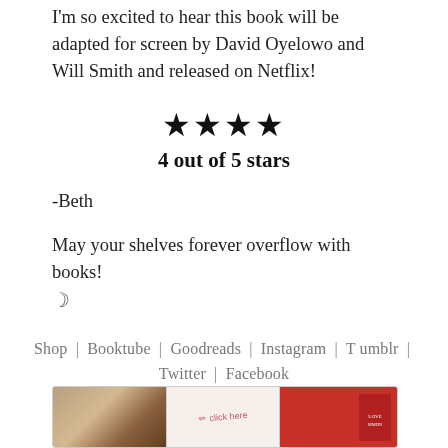I'm so excited to hear this book will be adapted for screen by David Oyelowo and Will Smith and released on Netflix!
★★★★
4 out of 5 stars
-Beth
May your shelves forever overflow with books! ☽
Shop | Booktube | Goodreads | Instagram | Tumblr | Twitter | Facebook
[Figure (photo): A horizontal strip showing three images: book covers on the left, a central panel with 'click here' handwritten text, and a red book/item on the right.]